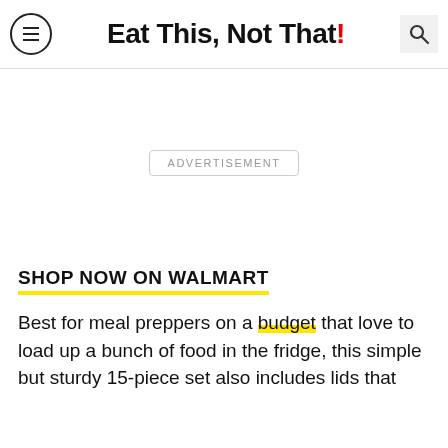Eat This, Not That!
ADVERTISEMENT
SHOP NOW ON WALMART
Best for meal preppers on a budget that love to load up a bunch of food in the fridge, this simple but sturdy 15-piece set also includes lids that